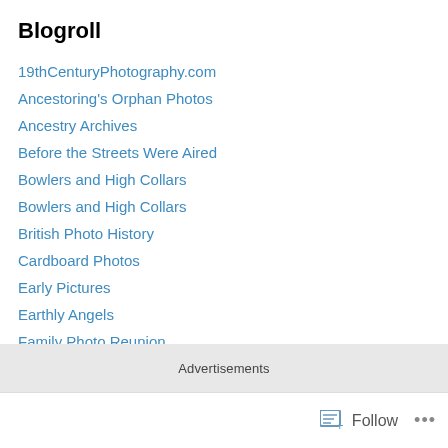Blogroll
19thCenturyPhotography.com
Ancestoring's Orphan Photos
Ancestry Archives
Before the Streets Were Aired
Bowlers and High Collars
Bowlers and High Collars
British Photo History
Cardboard Photos
Early Pictures
Earthly Angels
Family Photo Reunion
Find Your Family
Footlight Notes
Forgotten Faces and Long Ago Places
Advertisements
Follow ...